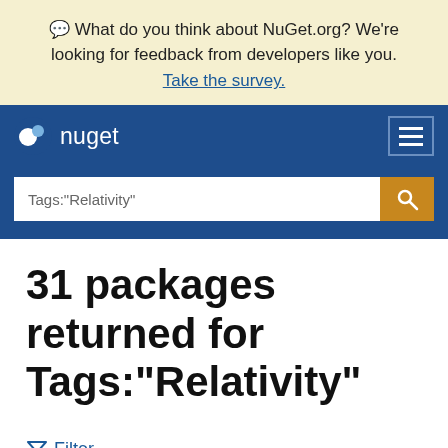💬 What do you think about NuGet.org? We're looking for feedback from developers like you. Take the survey.
nuget
Tags:"Relativity"
31 packages returned for Tags:"Relativity"
Filter